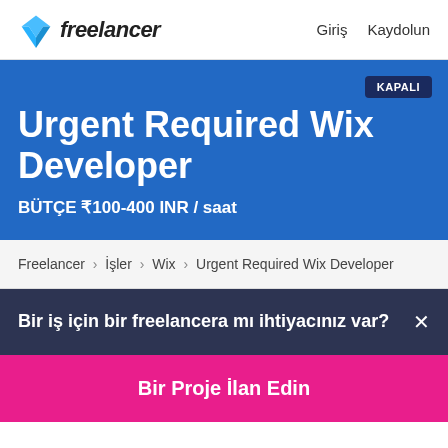Freelancer  Giriş  Kaydolun
Urgent Required Wix Developer
BÜTÇE ₹100-400 INR / saat
KAPALI
Freelancer › İşler › Wix › Urgent Required Wix Developer
Bir iş için bir freelancera mı ihtiyacınız var? ×
Bir Proje İlan Edin